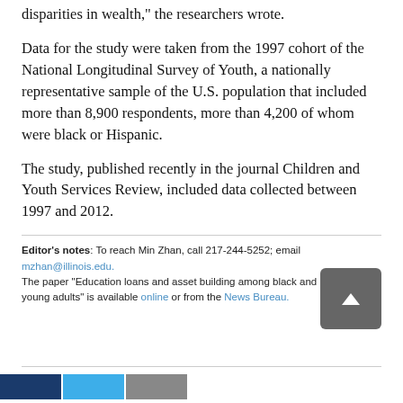disparities in wealth," the researchers wrote.
Data for the study were taken from the 1997 cohort of the National Longitudinal Survey of Youth, a nationally representative sample of the U.S. population that included more than 8,900 respondents, more than 4,200 of whom were black or Hispanic.
The study, published recently in the journal Children and Youth Services Review, included data collected between 1997 and 2012.
Editor's notes: To reach Min Zhan, call 217-244-5252; email mzhan@illinois.edu. The paper “Education loans and asset building among black and Hispanic young adults” is available online or from the News Bureau.
[Figure (other): Bottom navigation bar with dark blue, light blue, and gray colored segments.]